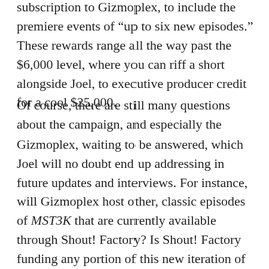subscription to Gizmoplex, to include the premiere events of “up to six new episodes.” These rewards range all the way past the $6,000 level, where you can riff a short alongside Joel, to executive producer credit for a cool $25,000.
Of course, there are still many questions about the campaign, and especially the Gizmoplex, waiting to be answered, which Joel will no doubt end up addressing in future updates and interviews. For instance, will Gizmoplex host other, classic episodes of MST3K that are currently available through Shout! Factory? Is Shout! Factory funding any portion of this new iteration of the show? After this first season (season 13, technically), would subscriptions for Gizmoplex be expected to fund the next season? Or will every season come with a new crowdfunding campaign that needs millions of dollars to keep it going?